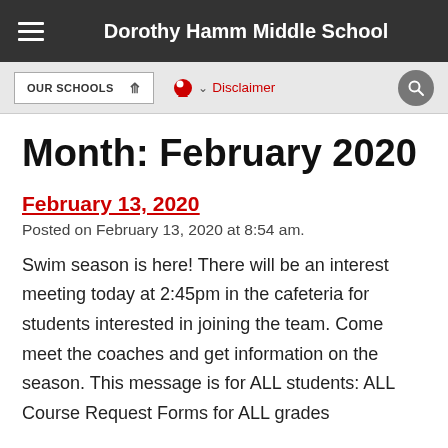Dorothy Hamm Middle School
OUR SCHOOLS   Disclaimer
Month: February 2020
February 13, 2020
Posted on February 13, 2020 at 8:54 am.
Swim season is here! There will be an interest meeting today at 2:45pm in the cafeteria for students interested in joining the team. Come meet the coaches and get information on the season. This message is for ALL students: ALL Course Request Forms for ALL grades